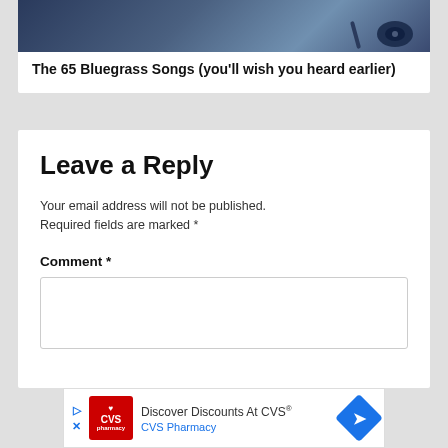[Figure (photo): Dark blue-toned photo of a guitar on a surface, partially visible at top]
The 65 Bluegrass Songs (you'll wish you heard earlier)
Leave a Reply
Your email address will not be published. Required fields are marked *
Comment *
[Figure (screenshot): CVS Pharmacy advertisement banner: 'Discover Discounts At CVS® CVS Pharmacy']